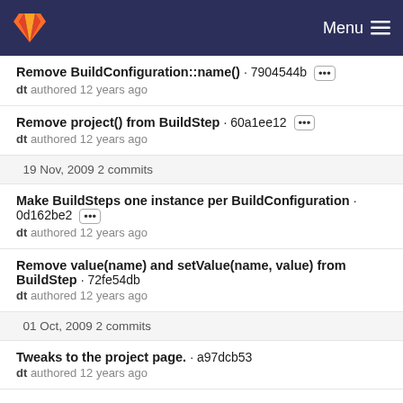GitLab Menu
Remove BuildConfiguration::name() · 7904544b
dt authored 12 years ago
Remove project() from BuildStep · 60a1ee12
dt authored 12 years ago
19 Nov, 2009 2 commits
Make BuildSteps one instance per BuildConfiguration · 0d162be2
dt authored 12 years ago
Remove value(name) and setValue(name, value) from BuildStep · 72fe54db
dt authored 12 years ago
01 Oct, 2009 2 commits
Tweaks to the project page. · a97dcb53
dt authored 12 years ago